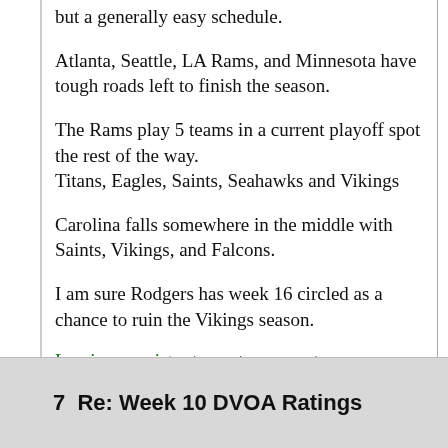but a generally easy schedule.
Atlanta, Seattle, LA Rams, and Minnesota have tough roads left to finish the season.
The Rams play 5 teams in a current playoff spot the rest of the way.
Titans, Eagles, Saints, Seahawks and Vikings
Carolina falls somewhere in the middle with Saints, Vikings, and Falcons.
I am sure Rodgers has week 16 circled as a chance to ruin the Vikings season.
Log in or register to post comments
7  Re: Week 10 DVOA Ratings